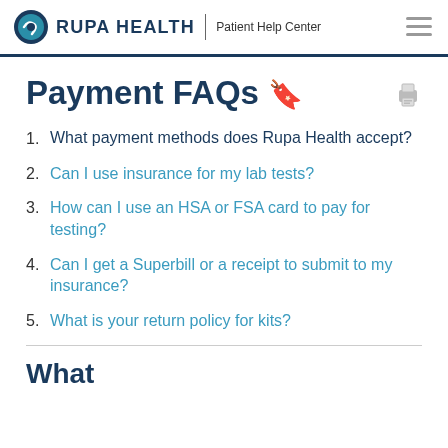RUPA HEALTH | Patient Help Center
Payment FAQs 🔖
1. What payment methods does Rupa Health accept?
2. Can I use insurance for my lab tests?
3. How can I use an HSA or FSA card to pay for testing?
4. Can I get a Superbill or a receipt to submit to my insurance?
5. What is your return policy for kits?